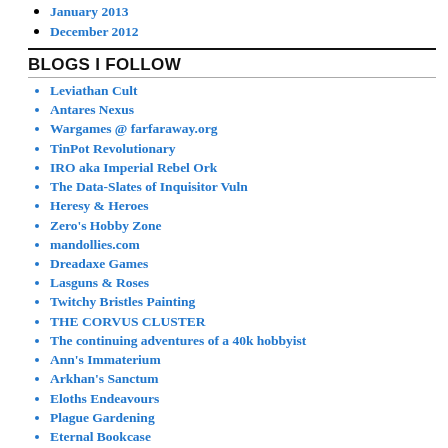January 2013
December 2012
BLOGS I FOLLOW
Leviathan Cult
Antares Nexus
Wargames @ farfaraway.org
TinPot Revolutionary
IRO aka Imperial Rebel Ork
The Data-Slates of Inquisitor Vuln
Heresy & Heroes
Zero's Hobby Zone
mandollies.com
Dreadaxe Games
Lasguns & Roses
Twitchy Bristles Painting
THE CORVUS CLUSTER
The continuing adventures of a 40k hobbyist
Ann's Immaterium
Arkhan's Sanctum
Eloths Endeavours
Plague Gardening
Eternal Bookcase